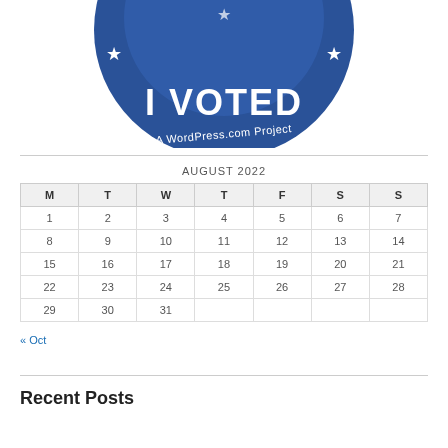[Figure (illustration): Circular blue 'I Voted' badge/sticker with stars and text 'A WordPress.com Project' at the bottom, partially cropped at the top]
| M | T | W | T | F | S | S |
| --- | --- | --- | --- | --- | --- | --- |
| 1 | 2 | 3 | 4 | 5 | 6 | 7 |
| 8 | 9 | 10 | 11 | 12 | 13 | 14 |
| 15 | 16 | 17 | 18 | 19 | 20 | 21 |
| 22 | 23 | 24 | 25 | 26 | 27 | 28 |
| 29 | 30 | 31 |  |  |  |  |
« Oct
Recent Posts